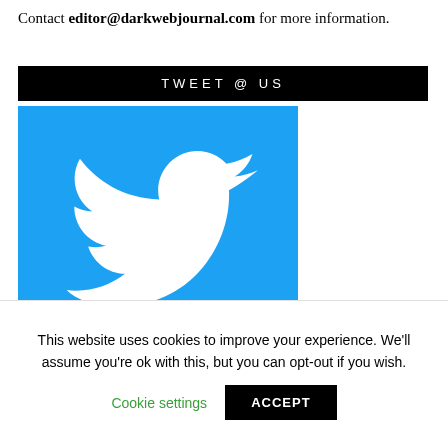Contact editor@darkwebjournal.com for more information.
TWEET @ US
[Figure (logo): Twitter bird logo on blue background]
YOU MIGHT BE INTERESTED IN
This website uses cookies to improve your experience. We'll assume you're ok with this, but you can opt-out if you wish.
Cookie settings    ACCEPT